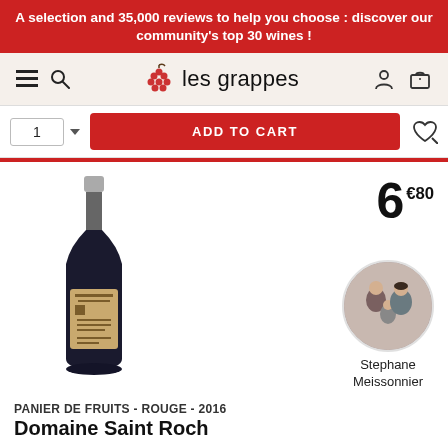A selection and 35,000 reviews to help you choose : discover our community's top 30 wines !
[Figure (screenshot): Les grappes website navigation bar with hamburger menu, search icon, grape cluster logo, user account icon, and shopping cart icon]
[Figure (screenshot): Add to cart bar with quantity selector showing 1, a red ADD TO CART button, and a wishlist heart icon]
[Figure (photo): Red wine bottle with label showing Domaine Saint Roch Panier de Fruits Rouge 2016]
6€80
[Figure (photo): Circular portrait photo of Stephane Meissonnier, showing a man and woman with a child]
Stephane Meissonnier
PANIER DE FRUITS - ROUGE - 2016
Domaine Saint Roch